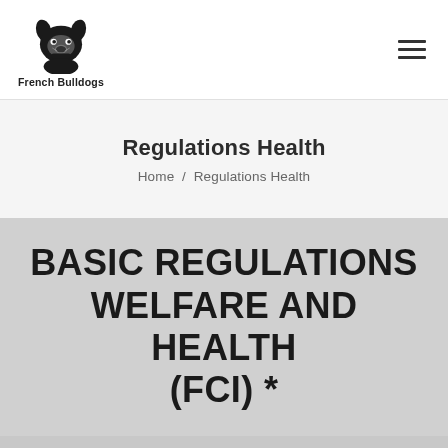[Figure (logo): French Bulldog silhouette logo in black and white, with text 'French Bulldogs' below]
Regulations Health
Home / Regulations Health
BASIC REGULATIONS WELFARE AND HEALTH (FCI) *